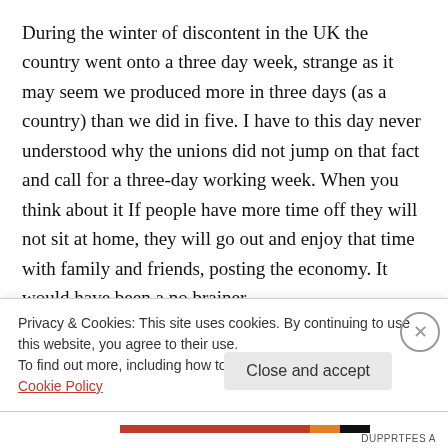During the winter of discontent in the UK the country went onto a three day week, strange as it may seem we produced more in three days (as a country) than we did in five. I have to this day never understood why the unions did not jump on that fact and call for a three-day working week. When you think about it If people have more time off they will not sit at home, they will go out and enjoy that time with family and friends, posting the economy. It would have been a no brainer.
Privacy & Cookies: This site uses cookies. By continuing to use this website, you agree to their use.
To find out more, including how to control cookies, see here: Cookie Policy
Close and accept